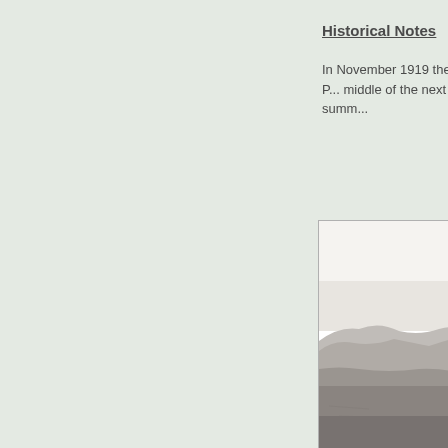Historical Notes
In November 1919 the P... middle of the next summ...
[Figure (photo): Black and white photograph of a desert or arid landscape with low hills/mountains in the background and flat terrain in the foreground, partially cropped on the right side of the page.]